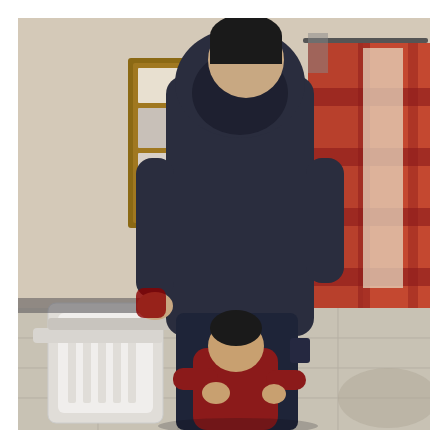[Figure (photo): Indoor photo showing the back view of a tall person wearing a dark navy hoodie and dark jeans, with a small child in a red outfit hugging their legs from behind. The setting appears to be a home interior with white chairs, a bulletin board on the wall to the left, and red/burgundy plaid curtains near a window on the right. The floor is tiled in white.]